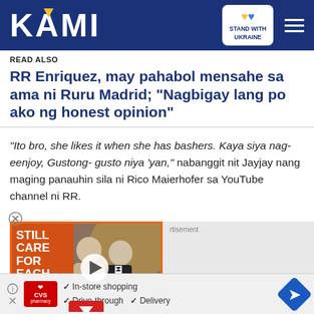KAMI — STAND WITH UKRAINE
READ ALSO
RR Enriquez, may pahabol mensahe sa ama ni Ruru Madrid; "Nagbigay lang po ako ng honest opinion"
"Ito bro, she likes it when she has bashers. Kaya siya nag-eenjoy, Gustong- gusto niya 'yan," nabanggit nit Jayjay nang maging panauhin sila ni Rico Maierhofer sa YouTube channel ni RR.
[Figure (screenshot): Video thumbnail showing two people — a woman and a man in a tuxedo — with orange overlay text reading STILL CARE FOR EACH OTHER and a play button. Below the thumbnail is a red downward chevron button. To the right is a gray advertisement area labeled 'advertisement'.]
[Figure (other): Bottom banner advertisement showing CVS Pharmacy logo with checkmarks listing: In-store shopping, Drive-through, Delivery, and a blue navigation arrow on the right.]